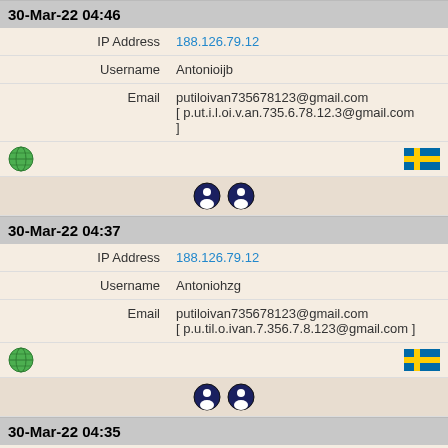30-Mar-22 04:46
| IP Address | 188.126.79.12 |
| Username | Antonioijb |
| Email | putiloivan735678123@gmail.com [ p.ut.i.l.oi.v.an.735.6.78.12.3@gmail.com ] |
[Figure (infographic): Globe icon and Swedish flag icon, then two dark circular icons]
30-Mar-22 04:37
| IP Address | 188.126.79.12 |
| Username | Antoniohzg |
| Email | putiloivan735678123@gmail.com [ p.u.til.o.ivan.7.356.7.8.123@gmail.com ] |
[Figure (infographic): Globe icon and Swedish flag icon, then two dark circular icons]
30-Mar-22 04:35
| IP Address | 188.126.79.12 |
| Username | Antoniofzw |